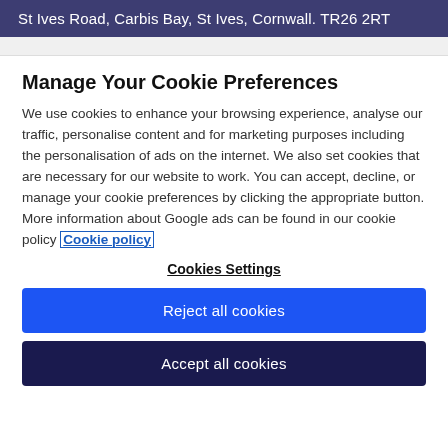St Ives Road, Carbis Bay, St Ives, Cornwall. TR26 2RT
Manage Your Cookie Preferences
We use cookies to enhance your browsing experience, analyse our traffic, personalise content and for marketing purposes including the personalisation of ads on the internet. We also set cookies that are necessary for our website to work. You can accept, decline, or manage your cookie preferences by clicking the appropriate button. More information about Google ads can be found in our cookie policy Cookie policy
Cookies Settings
Reject all cookies
Accept all cookies